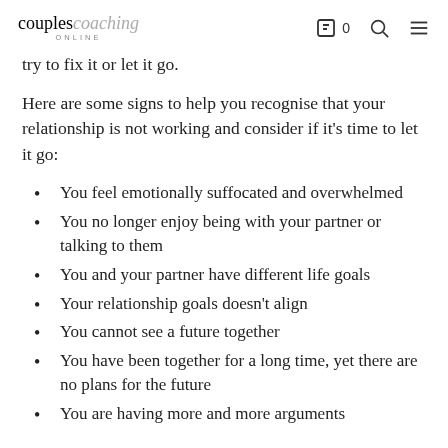couples coaching ONLINE
try to fix it or let it go.
Here are some signs to help you recognise that your relationship is not working and consider if it's time to let it go:
You feel emotionally suffocated and overwhelmed
You no longer enjoy being with your partner or talking to them
You and your partner have different life goals
Your relationship goals doesn't align
You cannot see a future together
You have been together for a long time, yet there are no plans for the future
You are having more and more arguments